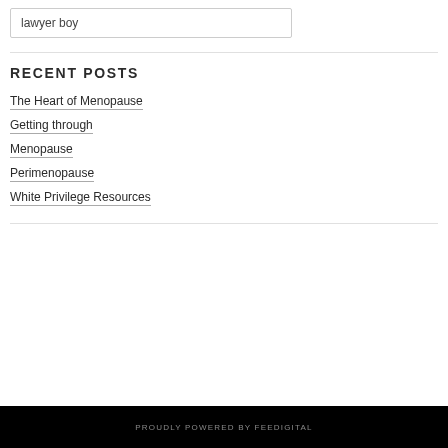lawyer boy
RECENT POSTS
The Heart of Menopause
Getting through
Menopause
Perimenopause
White Privilege Resources
PROUDLY POWERED BY FEEDIGITAL